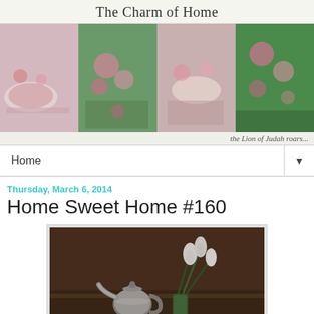The Charm of Home
[Figure (photo): Four-panel collage of cottage-style photos: tea cup with roses, pink roses in garden, tea setting with roses on table, pink roses on fence]
the Lion of Judah roars...
Home
Thursday, March 6, 2014
Home Sweet Home #160
[Figure (photo): A silver teapot and a vase with white tulips on a dark brown wooden surface]